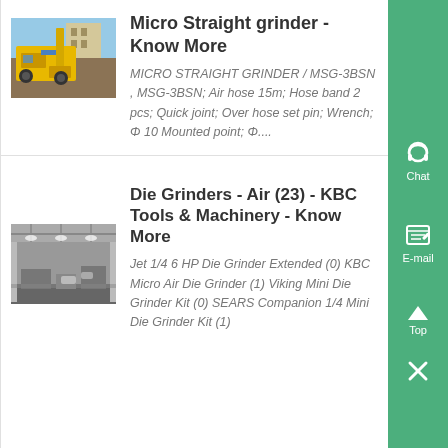[Figure (photo): Yellow industrial machinery/grinder equipment photo]
Micro Straight grinder - Know More
MICRO STRAIGHT GRINDER / MSG-3BSN , MSG-3BSN; Air hose 15m; Hose band 2 pcs; Quick joint; Over hose set pin; Wrench; Φ 10 Mounted point; Φ....
[Figure (photo): Black and white photo of industrial machinery/workshop interior]
Die Grinders - Air (23) - KBC Tools & Machinery - Know More
Jet 1/4 6 HP Die Grinder Extended (0) KBC Micro Air Die Grinder (1) Viking Mini Die Grinder Kit (0) SEARS Companion 1/4 Mini Die Grinder Kit (1)